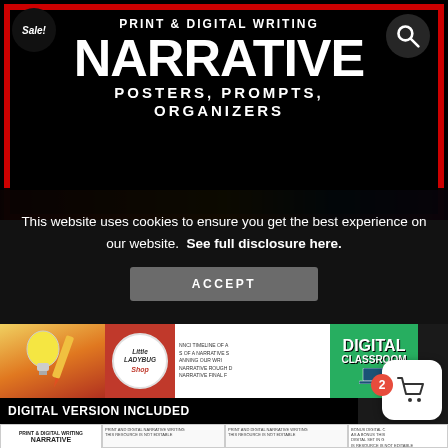[Figure (illustration): Product thumbnail banner with black background and red border showing 'PRINT & DIGITAL WRITING NARRATIVE POSTERS, PROMPTS, ORGANIZERS' in white text with a Sale badge and search icon]
This website uses cookies to ensure you get the best experience on our website.  See full disclosure here.
[Figure (screenshot): Accept button for cookie consent in dark gray style]
[Figure (illustration): Bottom product image showing Little Ladybug Shop branding, Digital Classroom panel, lightbulb and pencil illustrations, narrative writing text lines, and a 'DIGITAL VERSION INCLUDED' bar, with cart widget showing badge number 2]